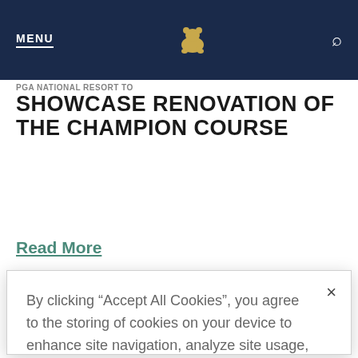MENU | [bear logo] | [search icon]
PGA NATIONAL RESORT TO SHOWCASE RENOVATION OF THE CHAMPION COURSE
Read More
By clicking “Accept All Cookies”, you agree to the storing of cookies on your device to enhance site navigation, analyze site usage, and assist in our marketing efforts.
Cookies Settings | Accept All Cookies